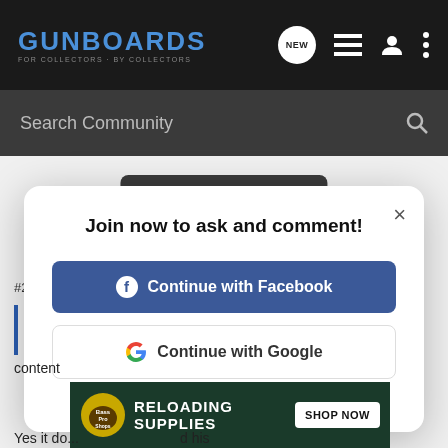GUNBOARDS - FOR COLLECTORS · BY COLLECTORS
Search Community
Learn more
Join now to ask and comment!
Continue with Facebook
Continue with Google
or sign up with email
[Figure (screenshot): Bass Pro Shops ad banner: RELOADING SUPPLIES SHOP NOW]
Yes it do...nd his